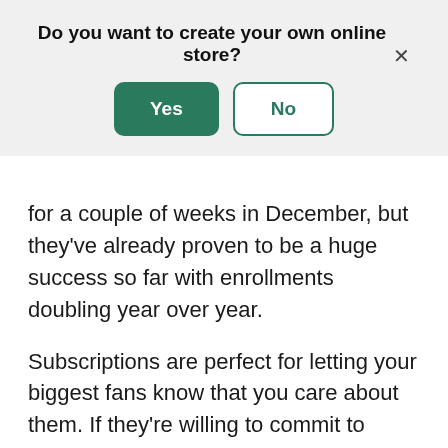Do you want to create your own online store?
for a couple of weeks in December, but they've already proven to be a huge success so far with enrollments doubling year over year.
Subscriptions are perfect for letting your biggest fans know that you care about them. If they're willing to commit to purchasing your products regularly, then you need to show them how much you appreciate them by continuing to surprise and delight them with free gifts and discounts.